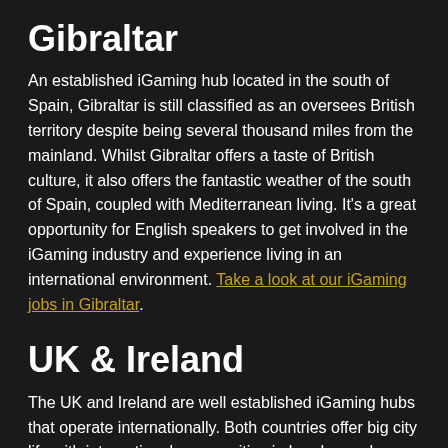Gibraltar
An established iGaming hub located in the south of Spain, Gibraltar is still classified as an oversees British territory despite being several thousand miles from the mainland. Whilst Gibraltar offers a taste of British culture, it also offers the fantastic weather of the south of Spain, coupled with Mediterranean living. It's a great opportunity for English speakers to get involved in the iGaming industry and experience living in an international environment. Take a look at our iGaming jobs in Gibraltar.
UK & Ireland
The UK and Ireland are well established iGaming hubs that operate internationally. Both countries offer big city life with international communities in London and Dublin, but there is also the opportunity to escape to the countryside and enjoy the quiet side of life that the UK and Ireland offer. Some of our iGaming positions are location on the isles of the UK, offering a completely different pace of life if that's what you are looking for. Take a look at our iGaming jobs in the UK